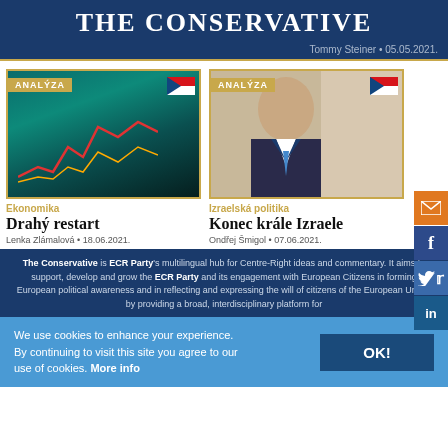THE CONSERVATIVE
Tommy Steiner · 05.05.2021.
[Figure (photo): Article card with ANALÝZA badge and Czech flag over financial chart image. Category: Ekonomika. Title: Drahý restart. Byline: Lenka Zlámalová · 18.06.2021.]
[Figure (photo): Article card with ANALÝZA badge and Czech flag over photo of Benjamin Netanyahu. Category: Izraelská politika. Title: Konec krále Izraele. Byline: Ondřej Šmigol · 07.06.2021.]
The Conservative is ECR Party's multilingual hub for Centre-Right ideas and commentary. It aims to support, develop and grow the ECR Party and its engagement with European Citizens in forming European political awareness and in reflecting and expressing the will of citizens of the European Union, by providing a broad, interdisciplinary platform for
We use cookies to enhance your experience. By continuing to visit this site you agree to our use of cookies. More info